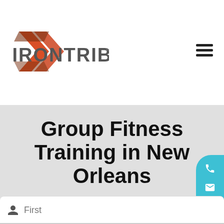[Figure (logo): Iron Tribe Fitness logo with orange double-arrow chevron and IRONTRIBE text in digital/LCD style font]
[Figure (other): Hamburger menu icon with three horizontal lines]
Group Fitness Training in New Orleans
REQUEST MORE INFORMATION
[Figure (other): Floating teal action button group with phone, email, and location pin icons]
First